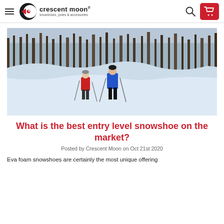crescent moon® snowshoes, poles & accessories
[Figure (photo): Two people snowshoeing across a snowy open field with bare trees in background. Person on left wears red jacket, person on right wears blue jacket. Both use poles.]
What is the best entry level snowshoe on the market?
Posted by Crescent Moon on Oct 21st 2020
Eva foam snowshoes are certainly the most unique offering